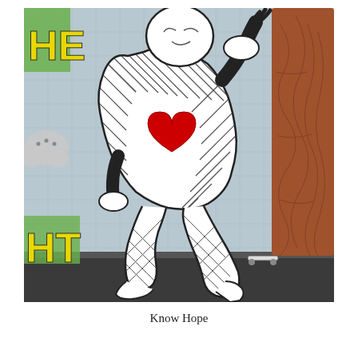[Figure (photo): A street art mural photograph showing a cartoon-style figure wearing a herringbone-patterned black and white suit/jumpsuit with a large red heart on the chest. The figure is crouching/kneeling and appears to be reaching or gesturing with one hand. To the right is a tree trunk painted in brown/orange tones with wood-grain detail. On the left are partial graffiti letters in yellow-green and a cloud shape. The background is a light blue-grey wall with grid lines.]
Know Hope